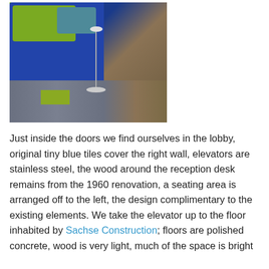[Figure (photo): Interior photo of a modern office lobby taken from above, showing blue upholstered sofa with lime green cushions, a small round side table with lamp, green-gray wood plank flooring, a lime green area rug, blue painted walls, and a wood-paneled wall section to the right.]
Just inside the doors we find ourselves in the lobby, original tiny blue tiles cover the right wall, elevators are stainless steel, the wood around the reception desk remains from the 1960 renovation, a seating area is arranged off to the left, the design complimentary to the existing elements. We take the elevator up to the floor inhabited by Sachse Construction; floors are polished concrete, wood is very light, much of the space is bright